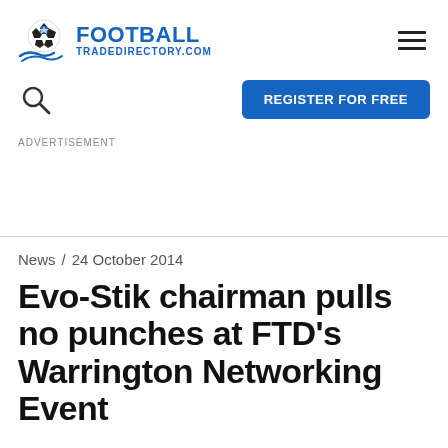FOOTBALL TRADEDIRECTORY.COM
REGISTER FOR FREE
ADVERTISEMENT
News / 24 October 2014
Evo-Stik chairman pulls no punches at FTD's Warrington Networking Event